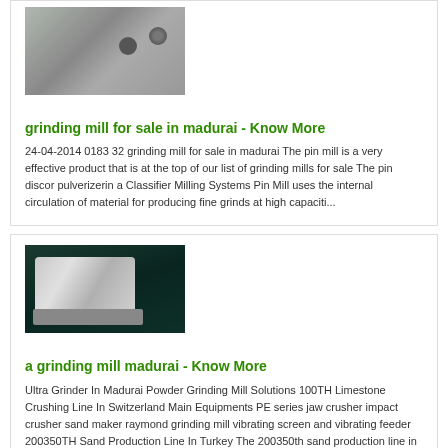[Figure (photo): Close-up photo of metal bolts or screws on a metallic surface]
grinding mill for sale in madurai - Know More
24-04-2014 0183 32 grinding mill for sale in madurai The pin mill is a very effective product that is at the top of our list of grinding mills for sale The pin discor pulverizerin a Classifier Milling Systems Pin Mill uses the internal circulation of material for producing fine grinds at high capaciti...
[Figure (photo): Photo of a mobile crushing/grinding machine on a dark teal background]
a grinding mill madurai - Know More
Ultra Grinder In Madurai Powder Grinding Mill Solutions 100TH Limestone Crushing Line In Switzerland Main Equipments PE series jaw crusher impact crusher sand maker raymond grinding mill vibrating screen and vibrating feeder 200350TH Sand Production Line In Turkey The 200350th sand production line in